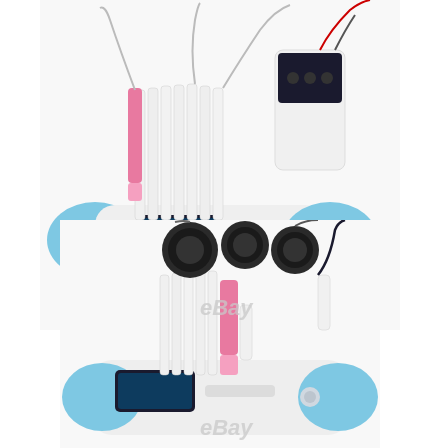[Figure (photo): Photo of a white and light blue beauty/medical device (ultrasonic cavitation or laser lipo machine) with multiple white wand attachments and a pink handle piece. The machine has a digital display screen and rounded blue side panels. eBay watermark visible.]
[Figure (photo): Photo of the same or similar white and light blue beauty/medical device viewed from the front, showing multiple black circular transducer heads (cavitation probes), white paddle-like attachments, a pink piece, and a touch screen display. eBay watermark visible.]